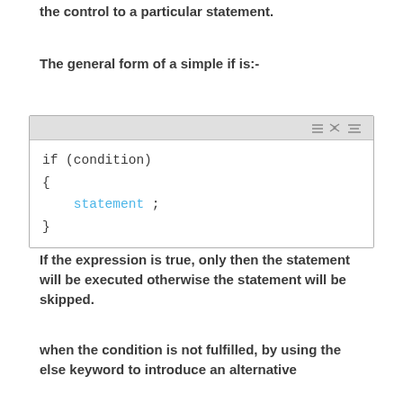the control to a particular statement.
The general form of a simple if is:-
[Figure (screenshot): Code block showing if statement syntax: if (condition) { statement ; }]
If the expression is true, only then the statement will be executed otherwise the statement will be skipped.
when the condition is not fulfilled, by using the else keyword to introduce an alternative